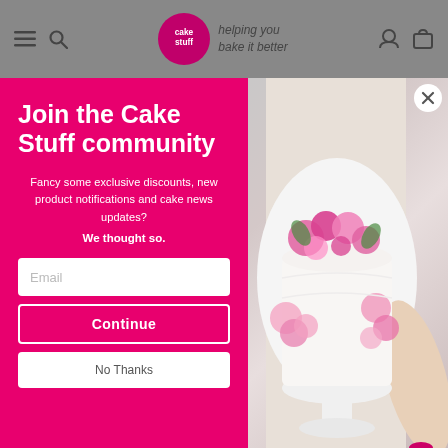cake stuff — helping you bake it better
Join the Cake Stuff community
Fancy some exclusive discounts, new product notifications and cake news updates?
We thought so.
[Figure (screenshot): Email input field placeholder]
[Figure (screenshot): Continue button in pink panel]
[Figure (screenshot): No Thanks button]
[Figure (photo): Person holding a tall white cake decorated with pink flowers on a white cake stand]
Simply Making
number 5 - silicone cake tin baking pan